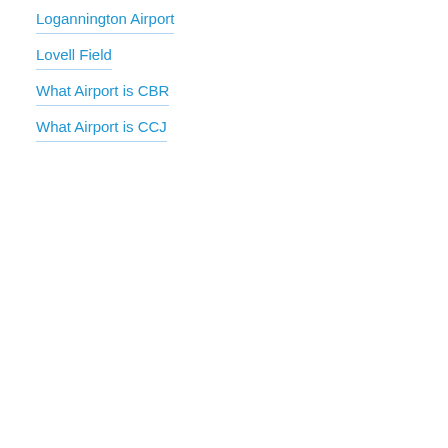Logannington Airport
Lovell Field
What Airport is CBR
What Airport is CCJ